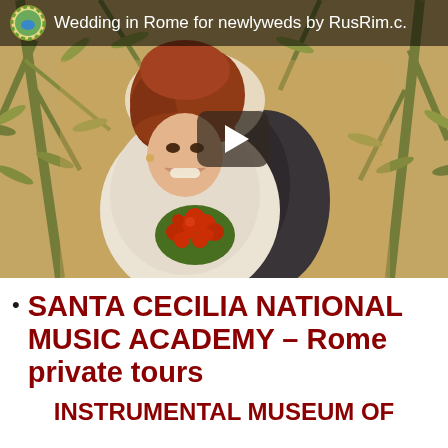[Figure (screenshot): YouTube-style video thumbnail showing a bride with red/auburn hair holding a red bouquet, surrounded by olive tree branches, with a groom partially visible behind her. A dark semi-transparent bar at the top shows a logo and the text 'Wedding in Rome for newlyweds by RusRim.c.' A triangular play button is overlaid in the center-right of the image.]
SANTA CECILIA NATIONAL MUSIC ACADEMY – Rome private tours
INSTRUMENTAL MUSEUM OF